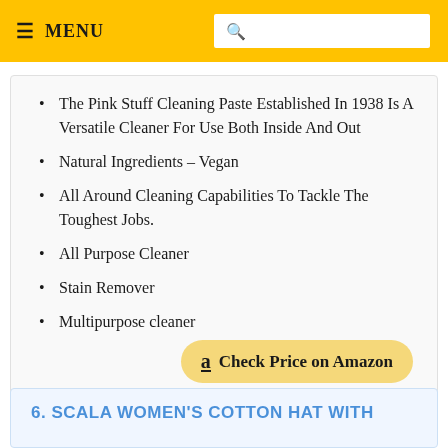≡ MENU [search box]
The Pink Stuff Cleaning Paste Established In 1938 Is A Versatile Cleaner For Use Both Inside And Out
Natural Ingredients – Vegan
All Around Cleaning Capabilities To Tackle The Toughest Jobs.
All Purpose Cleaner
Stain Remover
Multipurpose cleaner
Check Price on Amazon
6. SCALA WOMEN'S COTTON HAT WITH